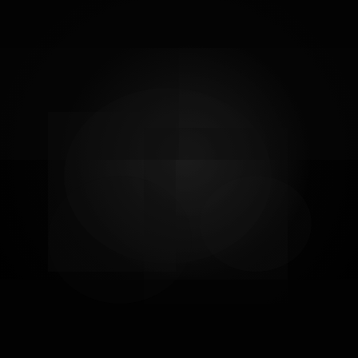[Figure (photo): A very dark, nearly black photographic image. The image appears to show a dimly lit scene with very low exposure or heavy shadows covering the entire frame. No clear subjects or details are discernible due to the extreme darkness of the image.]